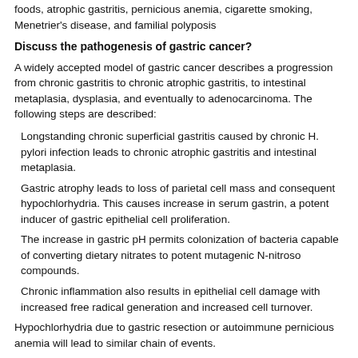foods, atrophic gastritis, pernicious anemia, cigarette smoking, Menetrier's disease, and familial polyposis
Discuss the pathogenesis of gastric cancer?
A widely accepted model of gastric cancer describes a progression from chronic gastritis to chronic atrophic gastritis, to intestinal metaplasia, dysplasia, and eventually to adenocarcinoma. The following steps are described:
Longstanding chronic superficial gastritis caused by chronic H. pylori infection leads to chronic atrophic gastritis and intestinal metaplasia.
Gastric atrophy leads to loss of parietal cell mass and consequent hypochlorhydria. This causes increase in serum gastrin, a potent inducer of gastric epithelial cell proliferation.
The increase in gastric pH permits colonization of bacteria capable of converting dietary nitrates to potent mutagenic N-nitroso compounds.
Chronic inflammation also results in epithelial cell damage with increased free radical generation and increased cell turnover.
Hypochlorhydria due to gastric resection or autoimmune pernicious anemia will lead to similar chain of events.
Is Intestinal metaplasia (IM) reversible?
IM is a potentially reversible change. It occurs as a result of Helicobacter pylori infection